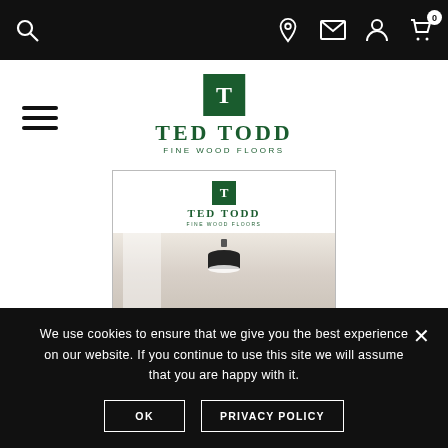Navigation bar with search, location, mail, account, and cart (0) icons
[Figure (logo): Ted Todd Fine Wood Floors logo — dark green square with T, brand name TED TODD, subtitle FINE WOOD FLOORS]
[Figure (screenshot): Ted Todd Fine Wood Floors product catalogue preview showing the logo at top and a room interior with ceiling pendant light, light walls and wooden floors]
We use cookies to ensure that we give you the best experience on our website. If you continue to use this site we will assume that you are happy with it.
OK
PRIVACY POLICY